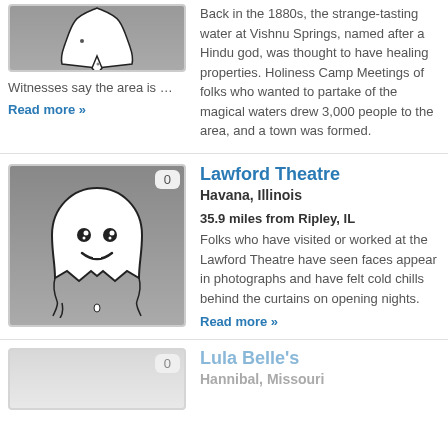[Figure (illustration): Ghost illustration on grey gradient background, partially visible at top]
Back in the 1880s, the strange-tasting water at Vishnu Springs, named after a Hindu god, was thought to have healing properties. Holiness Camp Meetings of folks who wanted to partake of the magical waters drew 3,000 people to the area, and a town was formed.
Witnesses say the area is …
Read more »
[Figure (illustration): Cartoon ghost illustration on grey gradient background, badge showing 0]
Lawford Theatre
Havana, Illinois
35.9 miles from Ripley, IL
Folks who have visited or worked at the Lawford Theatre have seen faces appear in photographs and have felt cold chills behind the curtains on opening nights.
Read more »
[Figure (illustration): Partial ghost illustration, faded, at bottom]
Lula Belle's
Hannibal, Missouri